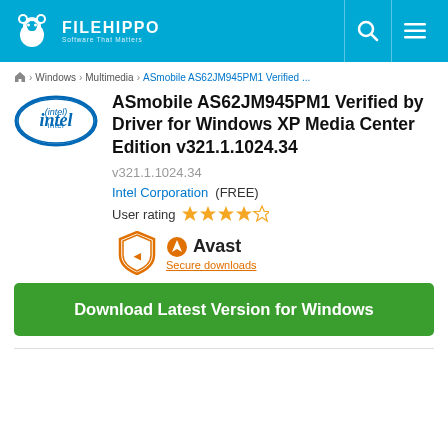FILEHIPPO Software That Matters
Home > Windows > Multimedia > ASmobile AS62JM945PM1 Verified ...
ASmobile AS62JM945PM1 Verified by Driver for Windows XP Media Center Edition v321.1.1024.34
v321.1.1024.34
Intel Corporation (FREE)
User rating 4/5 stars
[Figure (logo): Avast shield logo with Avast branding and Secure downloads link]
Download Latest Version for Windows